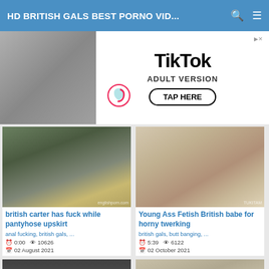HD BRITISH GALS BEST PORNO VID...
[Figure (photo): TikTok Adult Version advertisement banner with a person image on the left and TikTok logo, ADULT VERSION text, and TAP HERE button on the right]
[Figure (photo): Video thumbnail: british carter has fuck while pantyhose upskirt]
british carter has fuck while pantyhose upskirt
anal fucking, british gals, ...
0:00  10626  02 August 2021
[Figure (photo): Video thumbnail: Young Ass Fetish British babe for horny twerking]
Young Ass Fetish British babe for horny twerking
british gals, butt banging, ...
5:39  6122  02 October 2021
[Figure (photo): Video thumbnail bottom left: person with glasses]
[Figure (photo): Video thumbnail bottom right: person on bed]